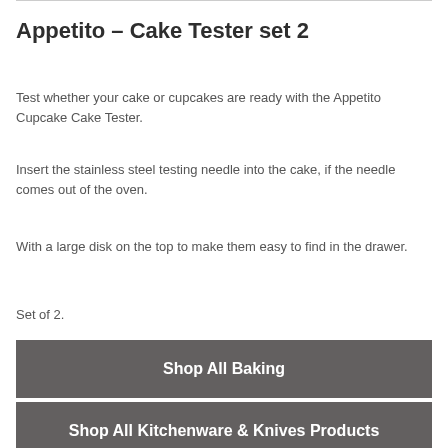Appetito – Cake Tester set 2
Test whether your cake or cupcakes are ready with the Appetito Cupcake Cake Tester.
Insert the stainless steel testing needle into the cake, if the needle comes out of the oven.
With a large disk on the top to make them easy to find in the drawer.
Set of 2.
Shop All Baking
Shop All Kitchenware & Knives Products